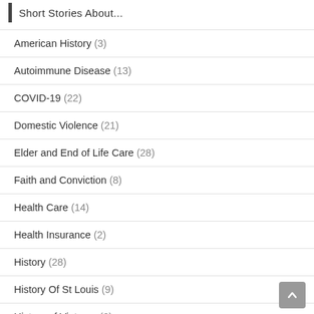Short Stories About...
American History (3)
Autoimmune Disease (13)
COVID-19 (22)
Domestic Violence (21)
Elder and End of Life Care (28)
Faith and Conviction (8)
Health Care (14)
Health Insurance (2)
History (28)
History Of St Louis (9)
History of Vietnam (6)
Inequality (22)